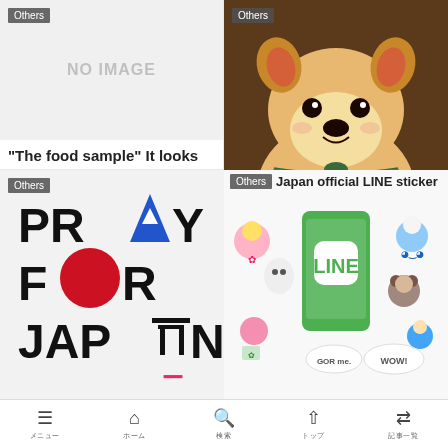[Figure (screenshot): No image placeholder box with light gray background and 'NO IMAGE' text]
“The food sample” It looks real but it is a fake.
2019.04.13
[Figure (photo): A Shiba Inu dog wearing a green patterned bandana, looking at camera]
Japanese Dog!
2018.02.06
[Figure (photo): PRAY FOR JAPAN graphic with bold black text and Japanese flag circle replacing O in FOR, and Mount Fuji replacing A in PRAY]
[Figure (screenshot): Japan official LINE sticker promotional image showing LINE app with various kawaii character stickers]
Japan official LINE sticker
Menu | Home | Search | Top | Article list